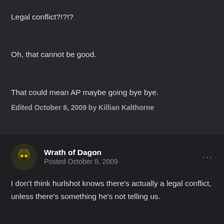Legal conflict?!?!?
Oh, that cannot be good.
That could mean AP maybe going bye bye.
Edited October 8, 2009 by Killian Kalthorne
Wrath of Dagon
Posted October 8, 2009
I don't think hurlshot knows there's actually a legal conflict, unless there's something he's not telling us.